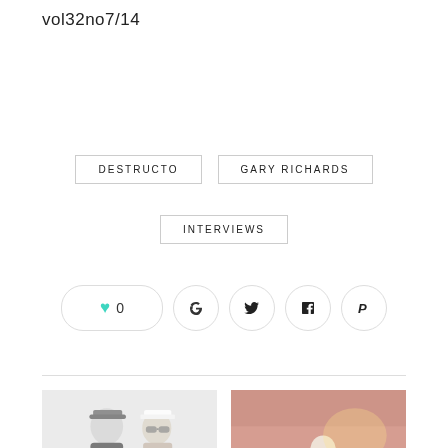vol32no7/14
DESTRUCTO
GARY RICHARDS
INTERVIEWS
[Figure (infographic): Social sharing buttons: heart/like (0), Facebook, Twitter, LinkedIn, Pinterest]
[Figure (photo): Two people posing, one in black t-shirt and cap, one in captain hat and sunglasses]
[Figure (photo): DJ at turntables in a red-lit venue]